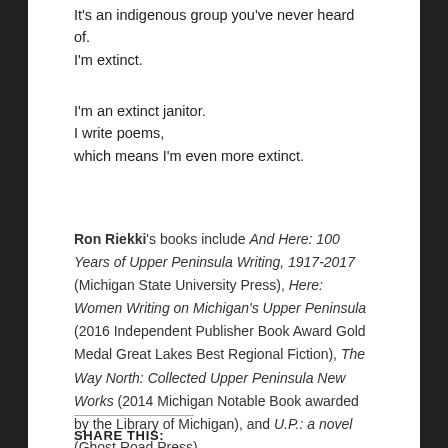It's an indigenous group you've never heard of.
I'm extinct.
I'm an extinct janitor.
I write poems,
which means I'm even more extinct.
Ron Riekki's books include And Here: 100 Years of Upper Peninsula Writing, 1917-2017 (Michigan State University Press), Here: Women Writing on Michigan's Upper Peninsula (2016 Independent Publisher Book Award Gold Medal Great Lakes Best Regional Fiction), The Way North: Collected Upper Peninsula New Works (2014 Michigan Notable Book awarded by the Library of Michigan), and U.P.: a novel (Ghost Road Press).
SHARE THIS: